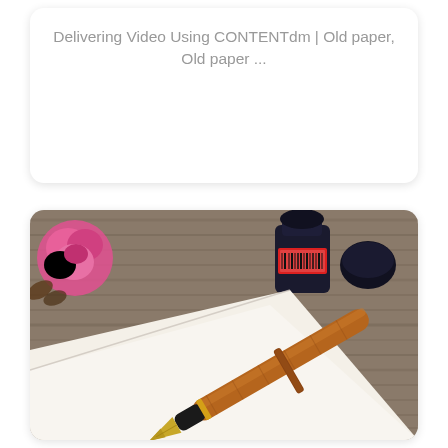Delivering Video Using CONTENTdm | Old paper, Old paper ...
[Figure (photo): A fountain pen with a brown wooden barrel and gold nib rests on white paper. In the background is a pink rose and a dark ink bottle with red label and its cap, on a wooden surface.]